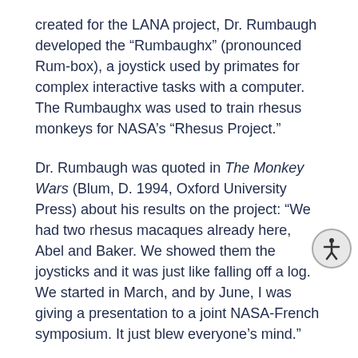created for the LANA project, Dr. Rumbaugh developed the “Rumbaughx” (pronounced Rum-box), a joystick used by primates for complex interactive tasks with a computer. The Rumbaughx was used to train rhesus monkeys for NASA’s “Rhesus Project.”
Dr. Rumbaugh was quoted in The Monkey Wars (Blum, D. 1994, Oxford University Press) about his results on the project: “We had two rhesus macaques already here, Abel and Baker. We showed them the joysticks and it was just like falling off a log. We started in March, and by June, I was giving a presentation to a joint NASA-French symposium. It just blew everyone’s mind.”
Duane Rumbaugh’s most famous animal language research project, which he managed with his former wife Sue Savage-Rumbaugh, was with a bonobo ape named Kanzi, who absorbed language skills while watching his mother work with researchers on the afore-mentioned